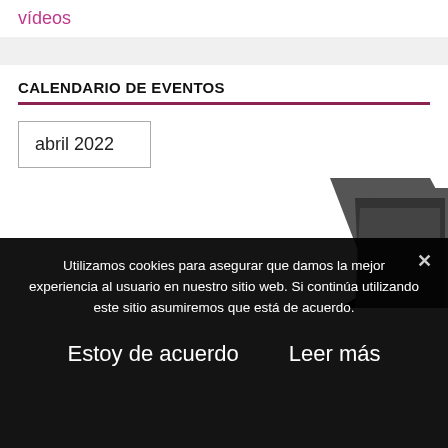vídeos
CALENDARIO DE EVENTOS
abril 2022
[Figure (screenshot): Partial view of a calendar widget showing a diagonal dark geometric shape on white background]
Utilizamos cookies para asegurar que damos la mejor experiencia al usuario en nuestro sitio web. Si continúa utilizando este sitio asumiremos que está de acuerdo.
Estoy de acuerdo
Leer más